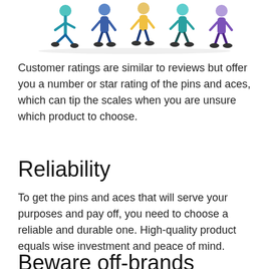[Figure (illustration): Colorful cartoon illustration of several people walking, partially cropped at top of page]
Customer ratings are similar to reviews but offer you a number or star rating of the pins and aces, which can tip the scales when you are unsure which product to choose.
Reliability
To get the pins and aces that will serve your purposes and pay off, you need to choose a reliable and durable one. High-quality product equals wise investment and peace of mind.
Beware off-brands